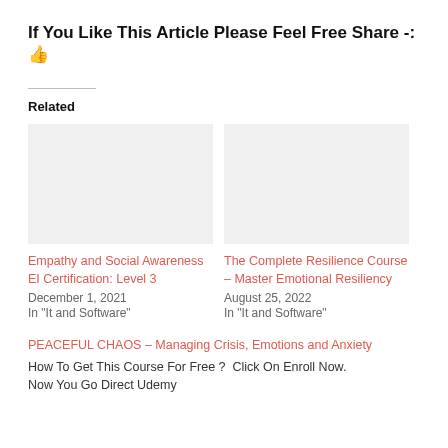If You Like This Article Please Feel Free Share -: 👍
Related
Empathy and Social Awareness EI Certification: Level 3
December 1, 2021
In "It and Software"
The Complete Resilience Course – Master Emotional Resiliency
August 25, 2022
In "It and Software"
PEACEFUL CHAOS – Managing Crisis, Emotions and Anxiety
How To Get This Course For Free ?  Click On Enroll Now. Now You Go Direct Udemy